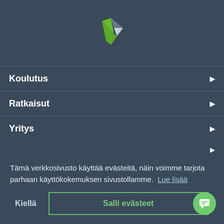[Figure (logo): Green and grey angular checkmark/arrow logo]
Koulutus
Ratkaisut
Yritys
Tämä verkkosivusto käyttää evästeitä, näin voimme tarjota parhaan käyttökokemuksen sivustollamme. Lue lisää
Kiellä
Salli evästeet